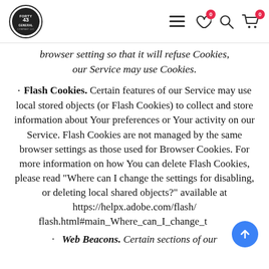Forty Three General Company LLC - navigation header with logo, hamburger menu, wishlist (0), search, and cart (0) icons
browser setting so that it will refuse Cookies, our Service may use Cookies.
Flash Cookies. Certain features of our Service may use local stored objects (or Flash Cookies) to collect and store information about Your preferences or Your activity on our Service. Flash Cookies are not managed by the same browser settings as those used for Browser Cookies. For more information on how You can delete Flash Cookies, please read "Where can I change the settings for disabling, or deleting local shared objects?" available at https://helpx.adobe.com/flash/flash.html#main_Where_can_I_change_the_se
Web Beacons. Certain sections of our